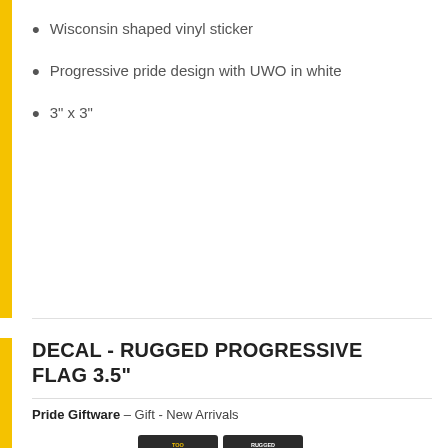Wisconsin shaped vinyl sticker
Progressive pride design with UWO in white
3" x 3"
DECAL - RUGGED PROGRESSIVE FLAG 3.5"
Pride Giftware – Gift - New Arrivals
[Figure (photo): Product photo of a rugged progressive pride flag sticker/decal showing the progressive pride flag with UWO text, in packaging with brand badges at top]